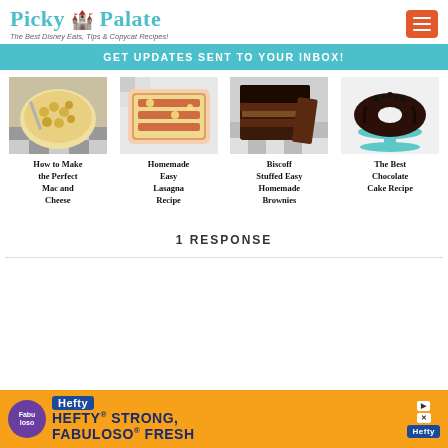Picky Palate — The Best Disney Eats, Tips & Copycat Recipes!
GET UPDATES SENT TO YOUR INBOX!
[Figure (photo): Mac and cheese in a white dish on a checkered cloth]
[Figure (photo): Homemade lasagna in a baking dish]
[Figure (photo): Biscoff stuffed brownies stacked on a checkered cloth]
[Figure (photo): Chocolate bundt cake on a teal cake stand]
How to Make the Perfect Mac and Cheese
Homemade Easy Lasagna Recipe
Biscoff Stuffed Easy Homemade Brownies
The Best Chocolate Cake Recipe
1 RESPONSE
[Figure (infographic): Hefty Strong, Fabuloso Fresh advertisement banner]